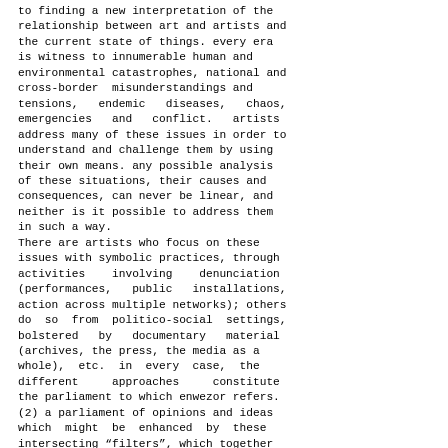to finding a new interpretation of the relationship between art and artists and the current state of things. every era is witness to innumerable human and environmental catastrophes, national and cross-border misunderstandings and tensions, endemic diseases, chaos, emergencies and conflict. artists address many of these issues in order to understand and challenge them by using their own means. any possible analysis of these situations, their causes and consequences, can never be linear, and neither is it possible to address them in such a way.
There are artists who focus on these issues with symbolic practices, through activities involving denunciation (performances, public installations, action across multiple networks); others do so from politico-social settings, bolstered by documentary material (archives, the press, the media as a whole), etc. in every case, the different approaches constitute the parliament to which enwezor refers. (2) a parliament of opinions and ideas which might be enhanced by these intersecting “filters”, which together could collaborate towards a deeper reading of such complex and unapproachable realities.